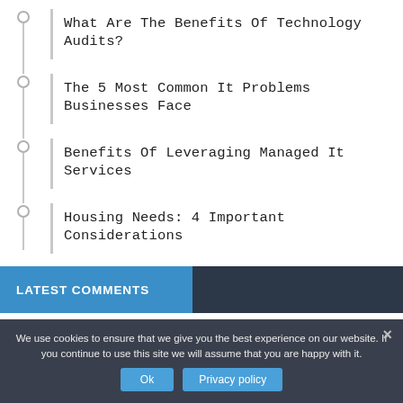What Are The Benefits Of Technology Audits?
The 5 Most Common It Problems Businesses Face
Benefits Of Leveraging Managed It Services
Housing Needs: 4 Important Considerations
LATEST COMMENTS
We use cookies to ensure that we give you the best experience on our website. If you continue to use this site we will assume that you are happy with it.
Ok
Privacy policy